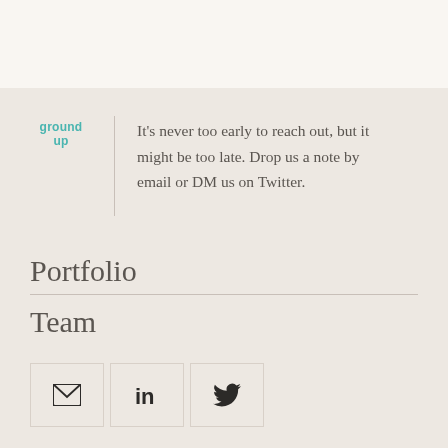[Figure (logo): Ground Up logo with teal text]
It's never too early to reach out, but it might be too late. Drop us a note by email or DM us on Twitter.
Portfolio
Team
[Figure (infographic): Three social media icon buttons: email (envelope), LinkedIn (in), Twitter (bird)]
Frank Ri...